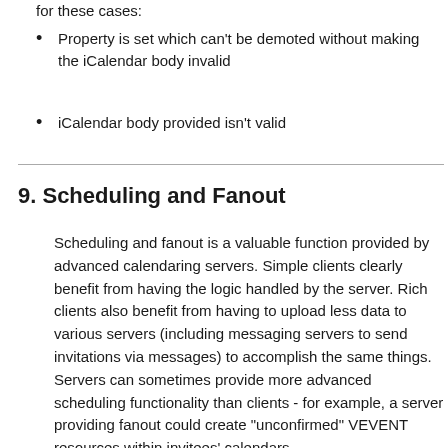for these cases:
Property is set which can't be demoted without making the iCalendar body invalid
iCalendar body provided isn't valid
9. Scheduling and Fanout
Scheduling and fanout is a valuable function provided by advanced calendaring servers. Simple clients clearly benefit from having the logic handled by the server. Rich clients also benefit from having to upload less data to various servers (including messaging servers to send invitations via messages) to accomplish the same things. Servers can sometimes provide more advanced scheduling functionality than clients - for example, a server providing fanout could create "unconfirmed" VEVENT resources within invitees' calendars.